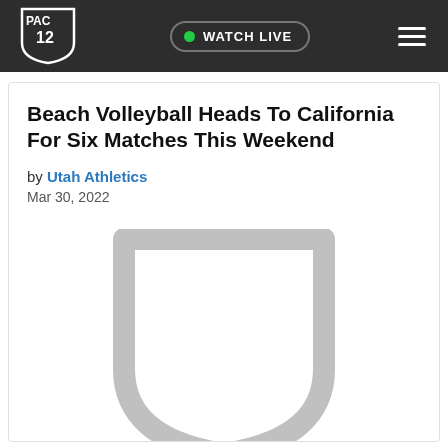PAC-12 — WATCH LIVE
Beach Volleyball Heads To California For Six Matches This Weekend
by Utah Athletics
Mar 30, 2022
[Figure (logo): Gray shield/crest placeholder image]